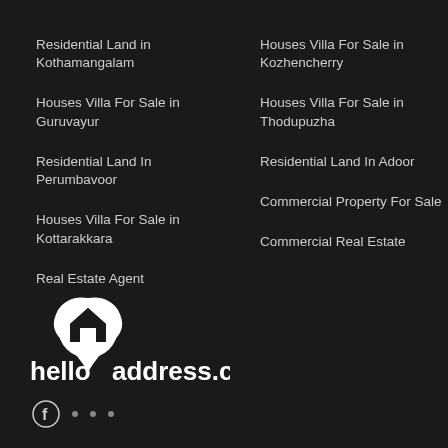Residential Land in Kothamangalam
Houses Villa For Sale in Guruvayur
Residential Land In Perumbavoor
Houses Villa For Sale in Kottarakkara
Real Estate Agent
Houses Villa For Sale in Kozhencherry
Houses Villa For Sale in Thodupuzha
Residential Land In Adoor
Commercial Property For Sale
Commercial Real Estate
[Figure (logo): helloaddress.com logo with map pin icon containing a house symbol]
Facebook icon and social media dots